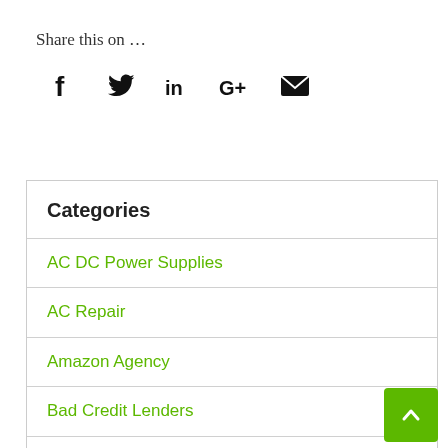Share this on …
[Figure (infographic): Social media share icons: Facebook (f), Twitter (bird), LinkedIn (in), Google+ (G+), Email (envelope)]
Categories
AC DC Power Supplies
AC Repair
Amazon Agency
Bad Credit Lenders
Bathroom Renovation Trends Deco Smart
Bee Removal
Belt Conveyors